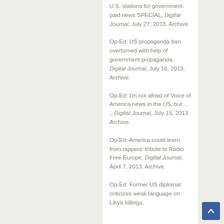U.S. stations for government-paid news SPECIAL, Digital Journal, July 27, 2013. Archive.
Op-Ed: US propaganda ban overturned with help of government propaganda, Digital Journal, July 16, 2013. Archive.
Op-Ed: I'm not afraid of Voice of America news in the US, but . . ., Digital Journal, July 15, 2013. Archive.
Op-Ed: America could learn from rappers' tribute to Radio Free Europe, Digital Journal, April 7, 2013. Archive.
Op-Ed: Former US diplomat criticizes weak language on Libya killings,